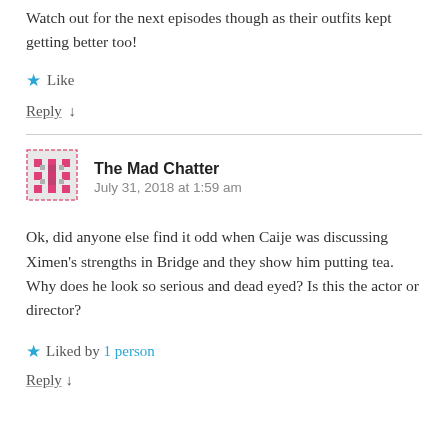Watch out for the next episodes though as their outfits kept getting better too!
★ Like
Reply ↓
[Figure (illustration): Avatar icon for The Mad Chatter - pink/magenta pixelated geometric pattern on gray background with dashed border]
The Mad Chatter
July 31, 2018 at 1:59 am
Ok, did anyone else find it odd when Caije was discussing Ximen's strengths in Bridge and they show him putting tea. Why does he look so serious and dead eyed? Is this the actor or director?
★ Liked by 1 person
Reply ↓